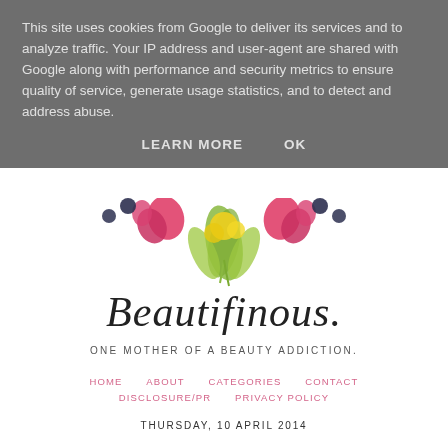This site uses cookies from Google to deliver its services and to analyze traffic. Your IP address and user-agent are shared with Google along with performance and security metrics to ensure quality of service, generate usage statistics, and to detect and address abuse.
LEARN MORE    OK
[Figure (illustration): Floral decoration with pink and yellow flowers and green foliage at the top of the page]
Beautifinous.
ONE MOTHER OF A BEAUTY ADDICTION.
HOME   ABOUT   CATEGORIES   CONTACT   DISCLOSURE/PR   PRIVACY POLICY
THURSDAY, 10 APRIL 2014